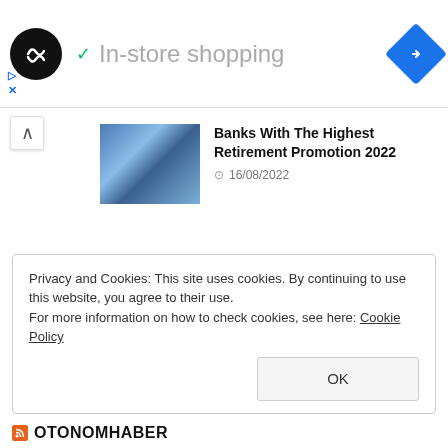[Figure (screenshot): Ad banner with circular logo, checkmark, 'In-store shopping' text, and blue navigation diamond icon]
[Figure (photo): Thumbnail image of hands holding cash/money]
Banks With The Highest Retirement Promotion 2022
16/08/2022
[Figure (photo): Thumbnail image of man in suit at podium with ATYA IL BASKANLIĞI banner]
Veli Ağbaba: Public Banks Should Update Promotions Given to Retirees
11/08/2022
Privacy and Cookies: This site uses cookies. By continuing to use this website, you agree to their use.
For more information on how to check cookies, see here: Cookie Policy
OTONOMHABER